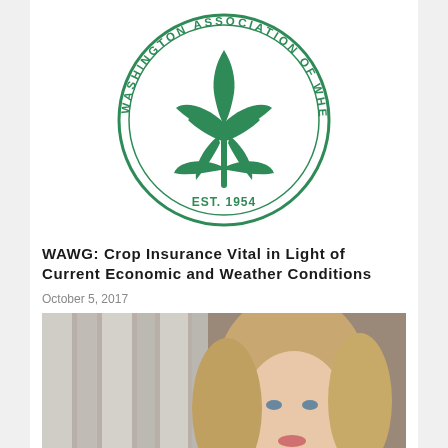[Figure (logo): Washington Association of Wheat Growers circular logo with wheat/leaf emblem in green, text 'WASHINGTON ASSOCIATION OF WHEAT GROWERS' around the circle, 'EST. 1954' at bottom]
WAWG: Crop Insurance Vital in Light of Current Economic and Weather Conditions
October 5, 2017
[Figure (photo): Portrait photo of a blonde woman with blue eyes, wavy hair, looking at camera, blurred striped background]